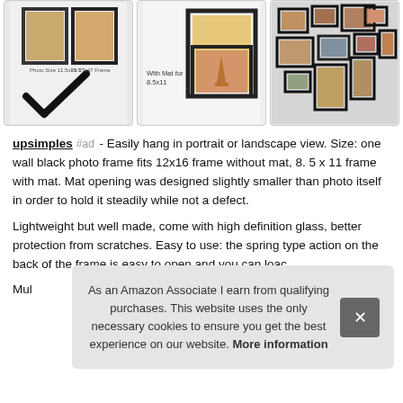[Figure (photo): Three product images of photo frames: left shows black frame with size labels, middle shows frame with mat for 8.5x11, right shows multiple frames on a brick wall]
upsimples #ad - Easily hang in portrait or landscape view. Size: one wall black photo frame fits 12x16 frame without mat, 8. 5 x 11 frame with mat. Mat opening was designed slightly smaller than photo itself in order to hold it steadily while not a defect.
Lightweight but well made, come with high definition glass, better protection from scratches. Easy to use: the spring type action on the back of the frame is easy to open and you can loac
As an Amazon Associate I earn from qualifying purchases. This website uses the only necessary cookies to ensure you get the best experience on our website. More information
Mul